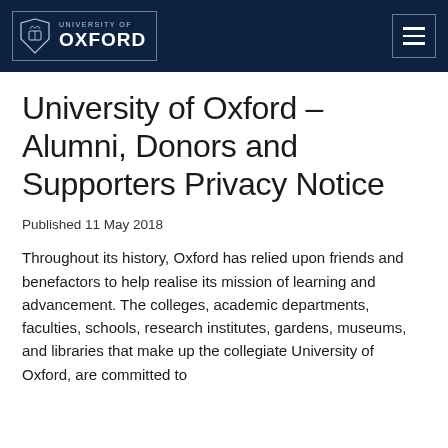University of Oxford
University of Oxford – Alumni, Donors and Supporters Privacy Notice
Published 11 May 2018
Throughout its history, Oxford has relied upon friends and benefactors to help realise its mission of learning and advancement. The colleges, academic departments, faculties, schools, research institutes, gardens, museums, and libraries that make up the collegiate University of Oxford, are committed to